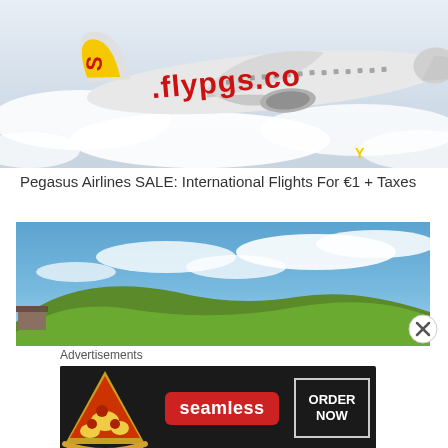[Figure (photo): Pegasus Airlines airplane flying above clouds, showing the flypgs.com branding and yellow/red logo on the tail]
Pegasus Airlines SALE: International Flights For €1 + Taxes
[Figure (photo): Green grassy hill under a blue sky with white clouds]
Advertisements
[Figure (photo): Seamless food delivery advertisement banner with pizza image, Seamless logo, and ORDER NOW button]